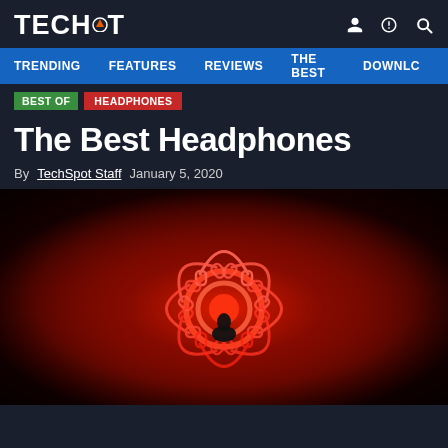TECHSPOT
TRENDING   FEATURES   REVIEWS   THE BEST   DOWNLC
BEST OF   HEADPHONES
The Best Headphones
By TechSpot Staff   January 5, 2020
[Figure (photo): A neon red art installation showing multiple headphones and musical instruments arranged in a radial pattern, with a silhouette of a person in the center surrounded by glowing red neon lights.]